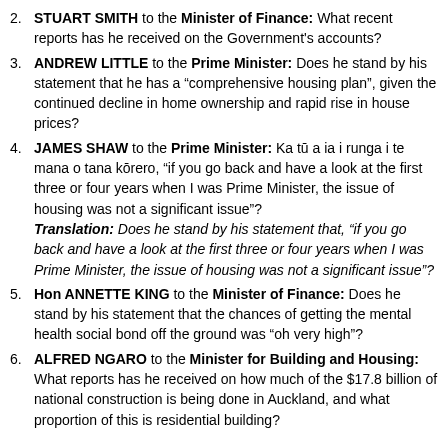STUART SMITH to the Minister of Finance: What recent reports has he received on the Government's accounts?
ANDREW LITTLE to the Prime Minister: Does he stand by his statement that he has a “comprehensive housing plan”, given the continued decline in home ownership and rapid rise in house prices?
JAMES SHAW to the Prime Minister: Ka tū a ia i runga i te mana o tana kōrero, “if you go back and have a look at the first three or four years when I was Prime Minister, the issue of housing was not a significant issue”? Translation: Does he stand by his statement that, “if you go back and have a look at the first three or four years when I was Prime Minister, the issue of housing was not a significant issue”?
Hon ANNETTE KING to the Minister of Finance: Does he stand by his statement that the chances of getting the mental health social bond off the ground was “oh very high”?
ALFRED NGARO to the Minister for Building and Housing: What reports has he received on how much of the $17.8 billion of national construction is being done in Auckland, and what proportion of this is residential building?